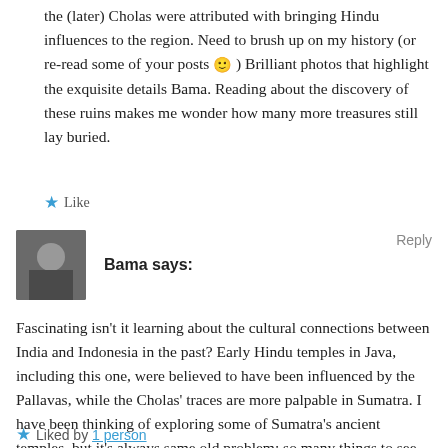the (later) Cholas were attributed with bringing Hindu influences to the region. Need to brush up on my history (or re-read some of your posts 🙂 ) Brilliant photos that highlight the exquisite details Bama. Reading about the discovery of these ruins makes me wonder how many more treasures still lay buried.
★ Like
Bama says:
Reply
Fascinating isn't it learning about the cultural connections between India and Indonesia in the past? Early Hindu temples in Java, including this one, were believed to have been influenced by the Pallavas, while the Cholas' traces are more palpable in Sumatra. I have been thinking of exploring some of Sumatra's ancient temples, but it's always same old problem: so many things to see, so little time. Thanks again, Madhu!
★ Liked by 1 person